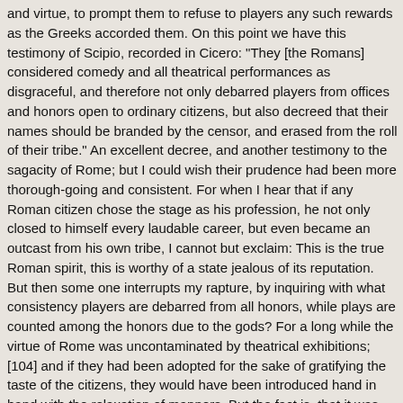and virtue, to prompt them to refuse to players any such rewards as the Greeks accorded them. On this point we have this testimony of Scipio, recorded in Cicero: "They [the Romans] considered comedy and all theatrical performances as disgraceful, and therefore not only debarred players from offices and honors open to ordinary citizens, but also decreed that their names should be branded by the censor, and erased from the roll of their tribe." An excellent decree, and another testimony to the sagacity of Rome; but I could wish their prudence had been more thorough-going and consistent. For when I hear that if any Roman citizen chose the stage as his profession, he not only closed to himself every laudable career, but even became an outcast from his own tribe, I cannot but exclaim: This is the true Roman spirit, this is worthy of a state jealous of its reputation. But then some one interrupts my rapture, by inquiring with what consistency players are debarred from all honors, while plays are counted among the honors due to the gods? For a long while the virtue of Rome was uncontaminated by theatrical exhibitions; [104] and if they had been adopted for the sake of gratifying the taste of the citizens, they would have been introduced hand in hand with the relaxation of manners. But the fact is, that it was the gods who demanded that they should be exhibited to gratify them. With what justice, then, is the player excommunicated by whom God is worshipped? On what pretext can you at once adore him who exacts, and brand him who acts these plays? This, then, is the controversy in which the Greeks and Romans are engaged. The Greeks think they justly honor players, because they worship the gods who demand plays; the Romans, on the other hand, do not suffer an actor to disgrace by his name his own plebeian tribe, far less the senatorial